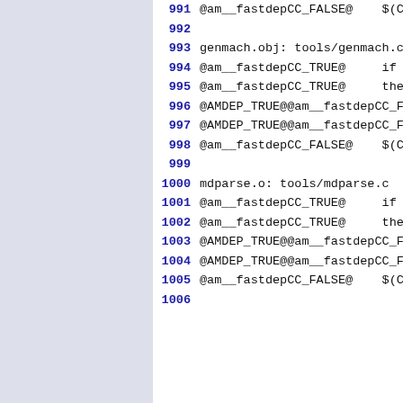991 @am__fastdepCC_FALSE@    $(CC
992
993 genmach.obj: tools/genmach.c
994 @am__fastdepCC_TRUE@    if $
995 @am__fastdepCC_TRUE@    then
996 @AMDEP_TRUE@@am__fastdepCC_FA
997 @AMDEP_TRUE@@am__fastdepCC_FA
998 @am__fastdepCC_FALSE@    $(CC
999
1000 mdparse.o: tools/mdparse.c
1001 @am__fastdepCC_TRUE@    if $
1002 @am__fastdepCC_TRUE@    then
1003 @AMDEP_TRUE@@am__fastdepCC_FA
1004 @AMDEP_TRUE@@am__fastdepCC_FA
1005 @am__fastdepCC_FALSE@    $(CC
1006